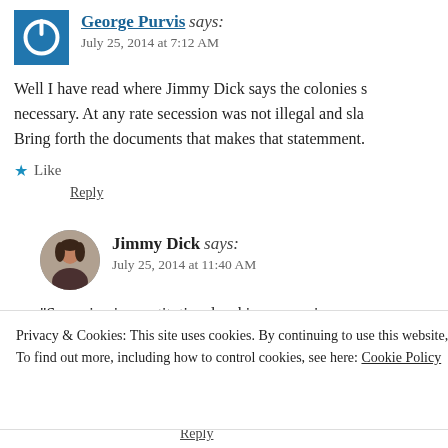George Purvis says: July 25, 2014 at 7:12 AM
Well I have read where Jimmy Dick says the colonies s… necessary. At any rate secession was not illegal and sla… Bring forth the documents that makes that statemment.
Like
Reply
Jimmy Dick says: July 25, 2014 at 11:40 AM
“Secession is constitutional…skip…secession
Privacy & Cookies: This site uses cookies. By continuing to use this website, you agree to their use.
To find out more, including how to control cookies, see here: Cookie Policy
Close and accept
Reply